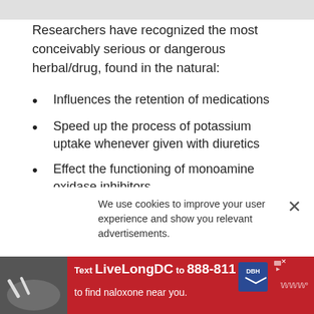Researchers have recognized the most conceivably serious or dangerous herbal/drug, found in the natural:
Influences the retention of medications
Speed up the process of potassium uptake whenever given with diuretics
Effect the functioning of monoamine oxidase inhibitors
React with glycosides
We use cookies to improve your user experience and show you relevant advertisements.
[Figure (infographic): Red advertisement banner at the bottom: Text LiveLongDC to 888-811 to find naloxone near you, with DBH logo]